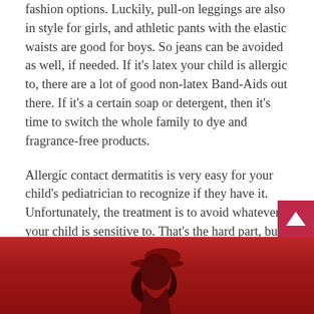fashion options. Luckily, pull-on leggings are also in style for girls, and athletic pants with the elastic waists are good for boys. So jeans can be avoided as well, if needed. If it's latex your child is allergic to, there are a lot of good non-latex Band-Aids out there. If it's a certain soap or detergent, then it's time to switch the whole family to dye and fragrance-free products.
Allergic contact dermatitis is very easy for your child's pediatrician to recognize if they have it. Unfortunately, the treatment is to avoid whatever your child is sensitive to. That's the hard part, but it's very doable. Your child's pediatrician can help with tips specific to your child, if needed.
[Figure (photo): A red-toned photo showing the silhouette of a child with a hat against a red background, partially visible at the bottom of the page.]